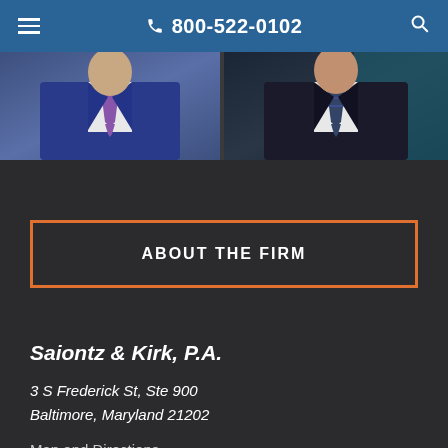800-522-0102
[Figure (photo): Two lawyers in suits, cropped at torso level showing ties and jacket lapels, split into two photo panels side by side]
ABOUT THE FIRM
Saiontz & Kirk, P.A.
3 S Frederick St, Ste 900
Baltimore, Maryland 21202
Map and Directions
Phone
(410) 539-6339